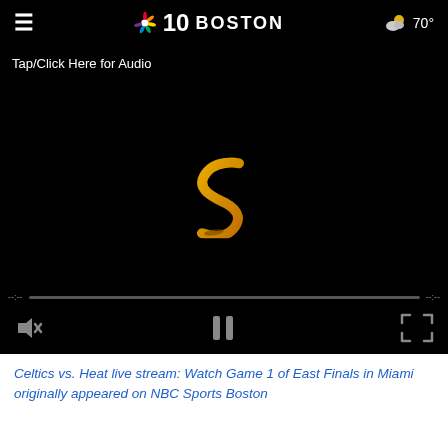NBC 10 Boston  70°
[Figure (screenshot): Video player with black background showing a stylized golden 'S' logo in the center. Controls include mute button, pause button, fullscreen button, progress bar at bottom, and 'Tap/Click Here for Audio' text overlay at top left.]
Celtics vs. Heat live stream: Watch Game 1 of East Finals in Miami originally appeared on NBC Sports Boston